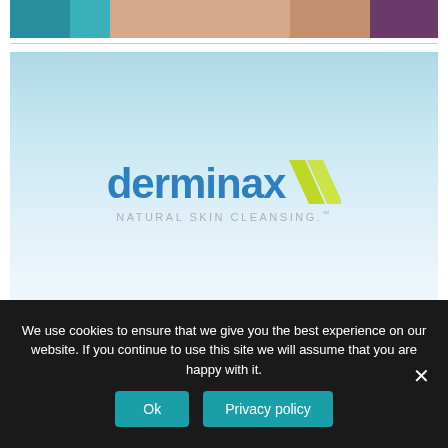[Figure (photo): Partial top image showing person's hands/body with teal and purple clothing]
[Figure (logo): Derminax Natural Skin Cleansing logo on a light blue gradient background. Blue text 'derminax' with a yellow-green chevron/slash graphic, and grey tagline 'NATURAL SKIN CLEANSING.']
We use cookies to ensure that we give you the best experience on our website. If you continue to use this site we will assume that you are happy with it.
Ok
Privacy policy